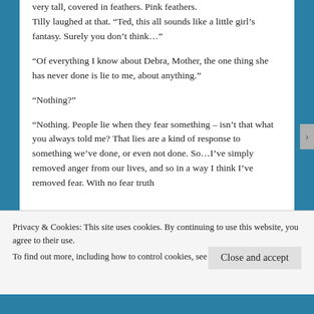very tall, covered in feathers. Pink feathers.
Tilly laughed at that. “Ted, this all sounds like a little girl’s fantasy. Surely you don’t think…”
“Of everything I know about Debra, Mother, the one thing she has never done is lie to me, about anything.”
“Nothing?”
“Nothing. People lie when they fear something – isn’t that what you always told me? That lies are a kind of response to something we’ve done, or even not done. So…I’ve simply removed anger from our lives, and so in a way I think I’ve removed fear. With no fear truth
Privacy & Cookies: This site uses cookies. By continuing to use this website, you agree to their use.
To find out more, including how to control cookies, see here: Cookie Policy